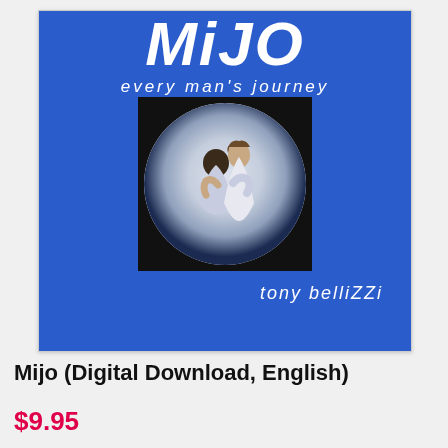[Figure (illustration): Book cover for 'Mijo: Every Man's Journey' by Tony Bellizzi. Blue background with large white stylized title text 'Mijo', subtitle 'every man's journey', a circular image showing two figures embracing (one appearing to be Jesus), and author name 'tony bellizzi' in handwritten style.]
Mijo (Digital Download, English)
$9.95